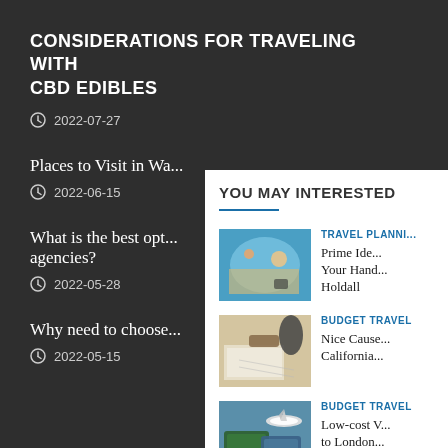CONSIDERATIONS FOR TRAVELING WITH CBD EDIBLES
2022-07-27
Places to Visit in Wa...
2022-06-15
What is the best opt... agencies?
2022-05-28
Why need to choose...
2022-05-15
YOU MAY INTERESTED
[Figure (photo): Travel planning with world map and mobile phone]
TRAVEL PLANNI...
Prime Ide... Your Hand... Holdall
[Figure (photo): Travel gear with binoculars, maps, and bag]
BUDGET TRAVEL
Nice Cause... California...
[Figure (photo): Passports and maps with toy airplane]
BUDGET TRAVEL
Low-cost V... to London... Household...